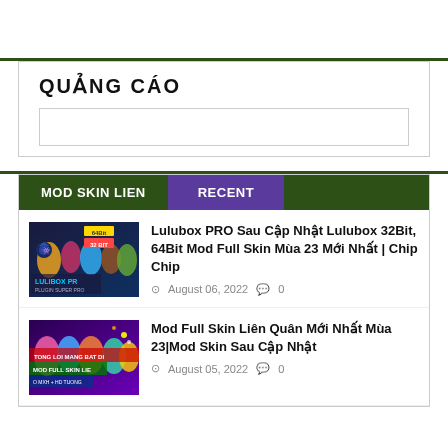QUẢNG CÁO
[Figure (other): Empty advertisement box placeholder]
MOD SKIN LIEN  RECENT
[Figure (photo): Lulubox PRO plugin thumbnail with game character skins, 32Bit 64Bit label]
Lulubox PRO Sau Cập Nhật Lulubox 32Bit, 64Bit Mod Full Skin Mùa 23 Mới Nhất | Chip Chip
August 06, 2022  0
[Figure (photo): Mod Full Skin Liên Quân thumbnail with colorful character skins]
Mod Full Skin Liên Quân Mới Nhất Mùa 23|Mod Skin Sau Cập Nhật
August 05, 2022  0